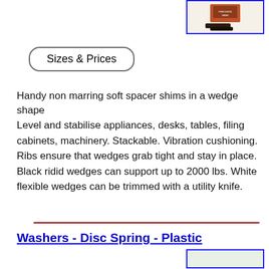[Figure (photo): Product image of black wedge shims in packaging, shown in a blue-bordered box in the top right corner]
Sizes & Prices
Handy non marring soft spacer shims in a wedge shape
Level and stabilise appliances, desks, tables, filing cabinets, machinery. Stackable. Vibration cushioning. Ribs ensure that wedges grab tight and stay in place. Black ridid wedges can support up to 2000 lbs. White flexible wedges can be trimmed with a utility knife.
Washers - Disc Spring - Plastic
[Figure (photo): Product image partially visible at bottom right, green background visible in blue-bordered box]